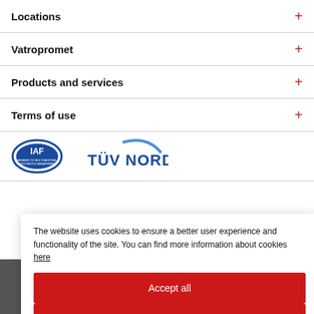Locations +
Vatropromet +
Products and services +
Terms of use +
[Figure (logo): IAF member of multinational association management circular badge logo and TUV NORD logo with blue swoosh arc]
The website uses cookies to ensure a better user experience and functionality of the site. You can find more information about cookies here
Accept all
Accept only necessary
Settings